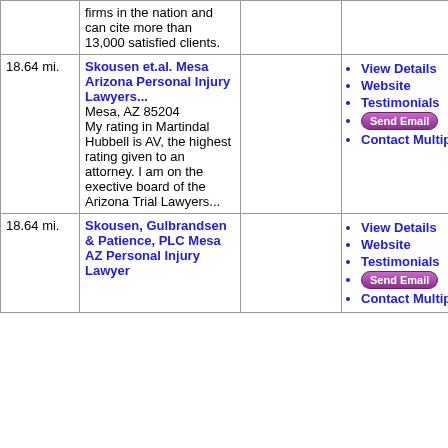| Distance | Name/Description |  | Links |
| --- | --- | --- | --- |
|  | firms in the nation and can cite more than 13,000 satisfied clients. |  |  |
| 18.64 mi. | Skousen et.al. Mesa Arizona Personal Injury Lawyers...
Mesa, AZ 85204
My rating in Martindal Hubbell is AV, the highest rating given to an attorney. I am on the exective board of the Arizona Trial Lawyers... |  | View Details
Website
Testimonials
Send Email
Contact Multiple |
| 18.64 mi. | Skousen, Gulbrandsen & Patience, PLC Mesa AZ Personal Injury Lawyer |  | View Details
Website
Testimonials
Send Email
Contact Multiple |